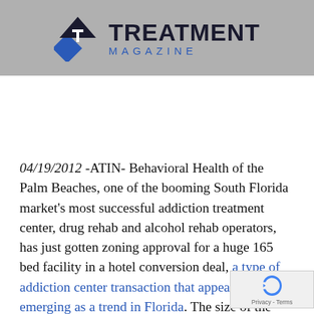[Figure (logo): Treatment Magazine logo with blue and dark diamond/arrow icon and text 'TREATMENT MAGAZINE']
04/19/2012 -ATIN- Behavioral Health of the Palm Beaches, one of the booming South Florida market's most successful addiction treatment center, drug rehab and alcohol rehab operators, has just gotten zoning approval for a huge 165 bed facility in a hotel conversion deal, a type of addiction center transaction that appears to be emerging as a trend in Florida. The size of the deal is hard to overemph... The Watershed, one of BHOPB's major local competitors, built a $16M complex several years... that could not 100 beds in more than one of the b...